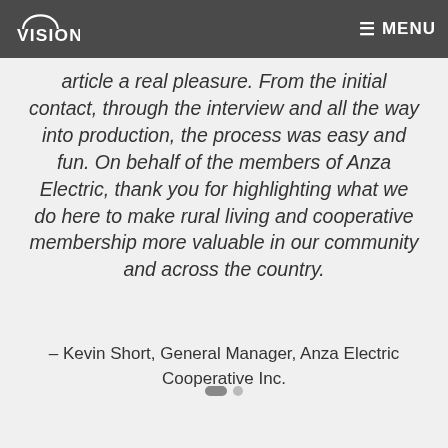Their professional and courteous staff took every opportunity to make the production of our
[Figure (logo): Vision logo in white on dark grey nav bar]
≡ MENU
article a real pleasure. From the initial contact, through the interview and all the way into production, the process was easy and fun. On behalf of the members of Anza Electric, thank you for highlighting what we do here to make rural living and cooperative membership more valuable in our community and across the country.
– Kevin Short, General Manager, Anza Electric Cooperative Inc.